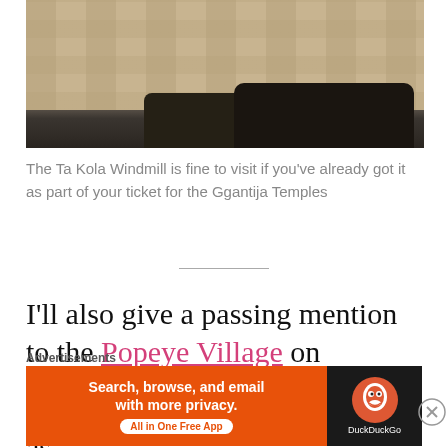[Figure (photo): Street scene with limestone stone walls and parked dark cars (SUVs/4WDs) on a narrow road, likely in Gozo, Malta]
The Ta Kola Windmill is fine to visit if you've already got it as part of your ticket for the Ggantija Temples
I'll also give a passing mention to the Popeye Village on mainland Malta.
I can't speak too much about this as
Advertisements
[Figure (screenshot): DuckDuckGo advertisement banner: orange background with text 'Search, browse, and email with more privacy. All in One Free App' and DuckDuckGo duck logo on dark background]